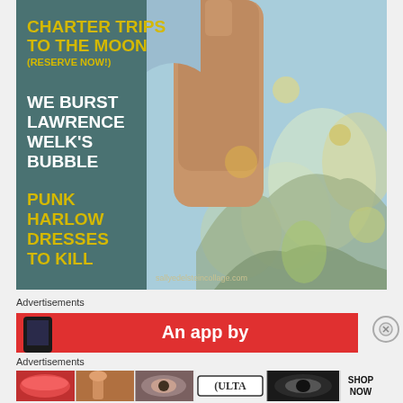[Figure (photo): Vintage magazine cover showing a man in a Hawaiian/tropical print shirt with arm raised. Yellow and white text overlaid on left side. Website watermark at bottom.]
Advertisements
[Figure (photo): Red advertisement banner with white text reading 'An app by' and a phone graphic on the left]
Advertisements
[Figure (photo): Beauty advertisement banner showing makeup products, ULTA beauty logo, and SHOP NOW call to action]